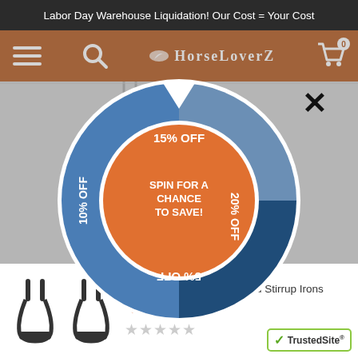Labor Day Warehouse Liquidation! Our Cost = Your Cost
[Figure (screenshot): HorseLoverZ website navigation bar with hamburger menu, search icon, logo, and cart icon with 0 items]
[Figure (donut-chart): SPIN FOR A CHANCE TO SAVE!]
[Figure (photo): Perri's Black Powder Coated Stirrup Irons product image showing two black stirrups]
Perri's Black Powder Coated Stirrup Irons
$51.95
[Figure (other): TrustedSite badge with green checkmark]